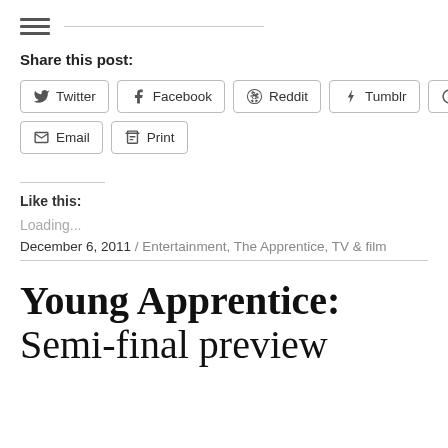[Figure (other): Hamburger menu icon (three horizontal lines) with a horizontal rule to the right]
Share this post:
Twitter  Facebook  Reddit  Tumblr  Pinterest
Email  Print
Like this:
Loading...
December 6, 2011 / Entertainment, The Apprentice, TV & film
Young Apprentice: Semi-final preview